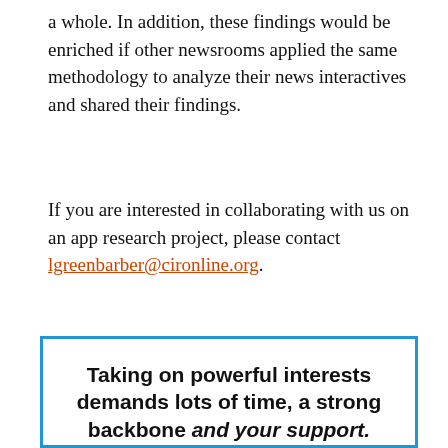a whole. In addition, these findings would be enriched if other newsrooms applied the same methodology to analyze their news interactives and shared their findings.
If you are interested in collaborating with us on an app research project, please contact lgreenbarber@cironline.org.
Taking on powerful interests demands lots of time, a strong backbone and your support.